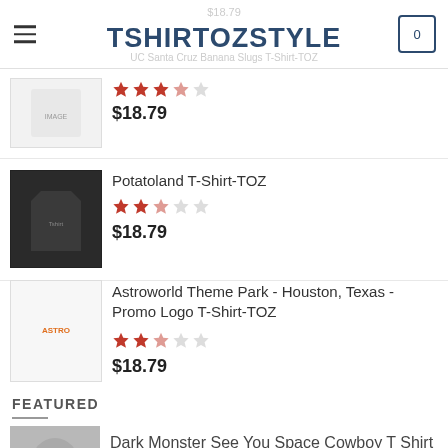TSHIRTOZSTYLE
UC Santa Cruz Banana Slugs T-Shirt-TOZ
$18.79
Potatoland T-Shirt-TOZ
$18.79
Astroworld Theme Park - Houston, Texas - Promo Logo T-Shirt-TOZ
$18.79
FEATURED
Dark Monster See You Space Cowboy T Shirt Hooded